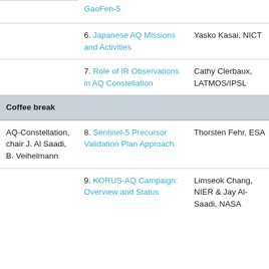| Session | Title | Speaker | Duration | Extra |
| --- | --- | --- | --- | --- |
|  | GaoFen-5 |  |  |  |
|  | 6. Japanese AQ Missions and Activities | Yasko Kasai, NICT | 15 min |  |
|  | 7. Role of IR Observations in AQ Constellation | Cathy Clerbaux, LATMOS/IPSL | 15 min |  |
| Coffee break |  |  | 30 min | 10 |
| AQ-Constellation, chair J. Al Saadi, B. Veihelmann | 8. Sentinel-5 Precursor Validation Plan Approach | Thorsten Fehr, ESA | 15 min | 1 |
|  | 9. KORUS-AQ Campaign: Overview and Status | Limseok Chang, NIER & Jay Al-Saadi, NASA | 15 min |  |